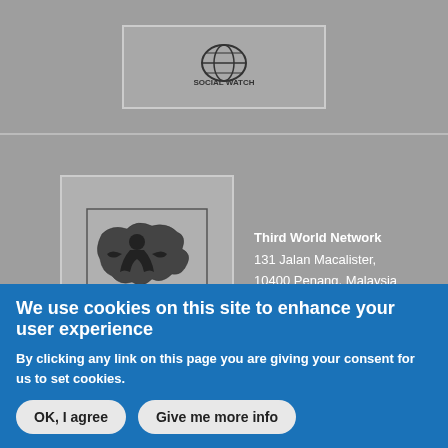[Figure (logo): Social Watch logo - globe with 'SOCIAL WATCH' text]
[Figure (logo): Third World Network logo - figure of a person on a world map silhouette with caption 'Third World Network']
Third World Network
131 Jalan Macalister,
10400 Penang, Malaysia
twn@twnetwork.org
www.twn.my
With support from
We use cookies on this site to enhance your user experience
By clicking any link on this page you are giving your consent for us to set cookies.
OK, I agree
Give me more info